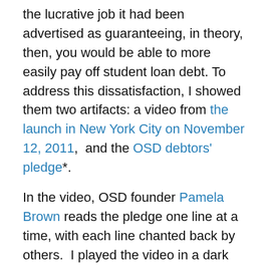the lucrative job it had been advertised as guaranteeing, in theory, then, you would be able to more easily pay off student loan debt. To address this dissatisfaction, I showed them two artifacts: a video from the launch in New York City on November 12, 2011,  and the OSD debtors' pledge*.
In the video, OSD founder Pamela Brown reads the pledge one line at a time, with each line chanted back by others.  I played the video in a dark classroom. I also projected it on the room's main screen, but I didn't use the room's amplification system because it sounds too much like an authoritarian public address and disperses the audio in a dominating way. External speakers connected to my laptop made the sound feel, to me, more localized and objectified, something we could focus on rather than an institutional part of the room. The students' first reaction